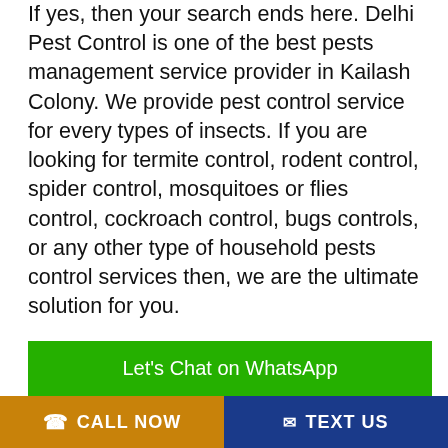If yes, then your search ends here. Delhi Pest Control is one of the best pests management service provider in Kailash Colony. We provide pest control service for every types of insects. If you are looking for termite control, rodent control, spider control, mosquitoes or flies control, cockroach control, bugs controls, or any other type of household pests control services then, we are the ultimate solution for you.
Treatments
Bed Bugs Treatment
Bird Netting
Cockroach Treatment
Rod...
Let's Chat on WhatsApp
CALL NOW   TEXT US